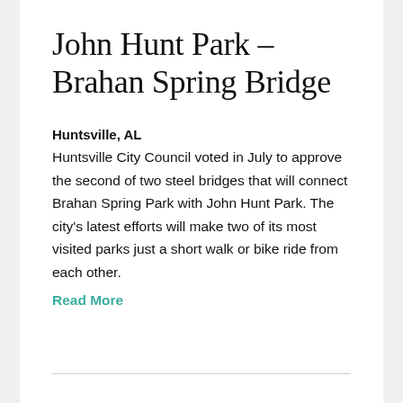John Hunt Park – Brahan Spring Bridge
Huntsville, AL
Huntsville City Council voted in July to approve the second of two steel bridges that will connect Brahan Spring Park with John Hunt Park. The city's latest efforts will make two of its most visited parks just a short walk or bike ride from each other.
Read More